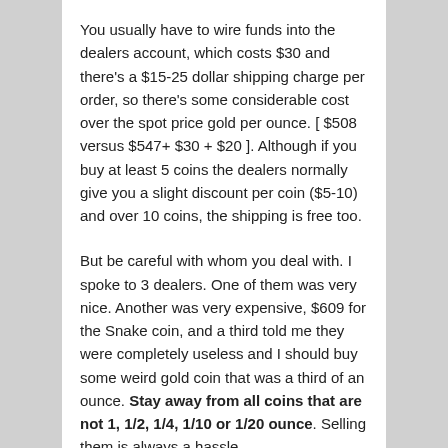You usually have to wire funds into the dealers account, which costs $30 and there's a $15-25 dollar shipping charge per order, so there's some considerable cost over the spot price gold per ounce. [ $508 versus $547+ $30 + $20 ]. Although if you buy at least 5 coins the dealers normally give you a slight discount per coin ($5-10) and over 10 coins, the shipping is free too.
But be careful with whom you deal with. I spoke to 3 dealers. One of them was very nice. Another was very expensive, $609 for the Snake coin, and a third told me they were completely useless and I should buy some weird gold coin that was a third of an ounce. Stay away from all coins that are not 1, 1/2, 1/4, 1/10 or 1/20 ounce. Selling them is always a hassle.